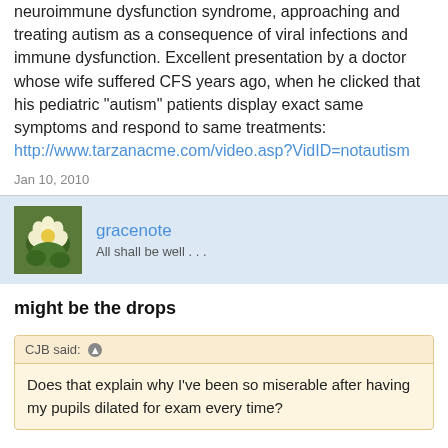neuroimmune dysfunction syndrome, approaching and treating autism as a consequence of viral infections and immune dysfunction. Excellent presentation by a doctor whose wife suffered CFS years ago, when he clicked that his pediatric "autism" patients display exact same symptoms and respond to same treatments: http://www.tarzanacme.com/video.asp?VidID=notautism
Jan 10, 2010
gracenote
All shall be well . . .
might be the drops
CJB said: Does that explain why I've been so miserable after having my pupils dilated for exam every time?
CJB,